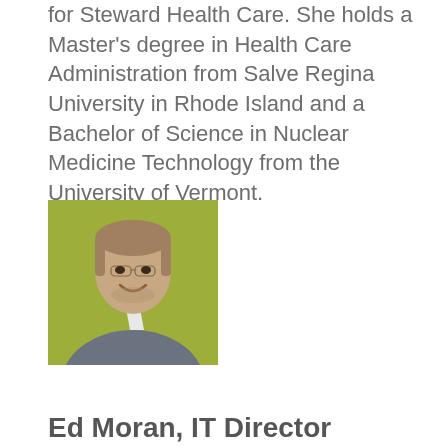for Steward Health Care. She holds a Master's degree in Health Care Administration from Salve Regina University in Rhode Island and a Bachelor of Science in Nuclear Medicine Technology from the University of Vermont.
[Figure (photo): Headshot photo of a middle-aged man smiling, wearing a grey vest over a white shirt, against a green background.]
Ed Moran, IT Director